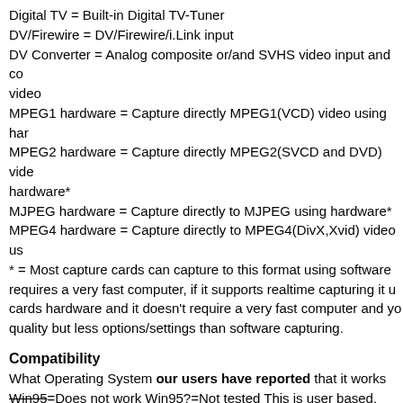Digital TV = Built-in Digital TV-Tuner
DV/Firewire = DV/Firewire/i.Link input
DV Converter = Analog composite or/and SVHS video input and co video
MPEG1 hardware = Capture directly MPEG1(VCD) video using har
MPEG2 hardware = Capture directly MPEG2(SVCD and DVD) vide hardware*
MJPEG hardware = Capture directly to MJPEG using hardware*
MPEG4 hardware = Capture directly to MPEG4(DivX,Xvid) video us
* = Most capture cards can capture to this format using software requires a very fast computer, if it supports realtime capturing it u cards hardware and it doesn't require a very fast computer and yo quality but less options/settings than software capturing.
Compatibility
What Operating System our users have reported that it works Win95=Does not work Win95?=Not tested This is user based.
Cnx = Connection
What type of connection the capture device has to the computer, USB1/1.1/2, DV or PCMCIA.
Price
The price in US dollar.